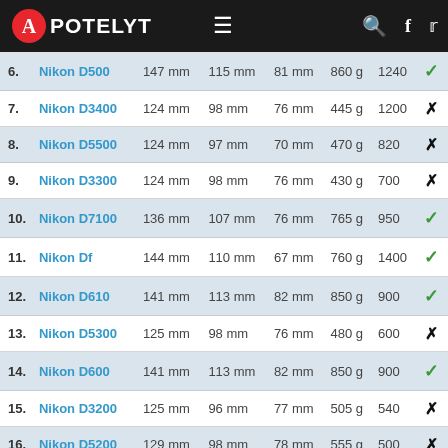APOTELYT
| # | Camera | Width | Height | Depth | Weight | Score |  |
| --- | --- | --- | --- | --- | --- | --- | --- |
| 6. | Nikon D500 | 147 mm | 115 mm | 81 mm | 860 g | 1240 | ✓ |
| 7. | Nikon D3400 | 124 mm | 98 mm | 76 mm | 445 g | 1200 | ✗ |
| 8. | Nikon D5500 | 124 mm | 97 mm | 70 mm | 470 g | 820 | ✗ |
| 9. | Nikon D3300 | 124 mm | 98 mm | 76 mm | 430 g | 700 | ✗ |
| 10. | Nikon D7100 | 136 mm | 107 mm | 76 mm | 765 g | 950 | ✓ |
| 11. | Nikon Df | 144 mm | 110 mm | 67 mm | 760 g | 1400 | ✓ |
| 12. | Nikon D610 | 141 mm | 113 mm | 82 mm | 850 g | 900 | ✓ |
| 13. | Nikon D5300 | 125 mm | 98 mm | 76 mm | 480 g | 600 | ✗ |
| 14. | Nikon D600 | 141 mm | 113 mm | 82 mm | 850 g | 900 | ✓ |
| 15. | Nikon D3200 | 125 mm | 96 mm | 77 mm | 505 g | 540 | ✗ |
| 16. | Nikon D5200 | 129 mm | 98 mm | 78 mm | 555 g | 500 | ✗ |
| 17. | Nikon D5100 | 128 mm | 97 mm | 79 mm | 560 g | 660 | ✗ |